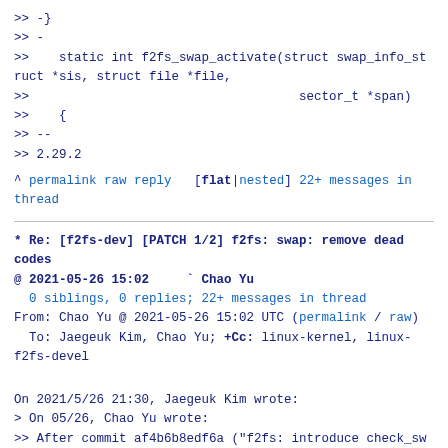>> -}
>> -
>>    static int f2fs_swap_activate(struct swap_info_struct *sis, struct file *file,
>>                                    sector_t *span)
>>    {
>> --
>> 2.29.2
^ permalink raw reply   [flat|nested] 22+ messages in thread
* Re: [f2fs-dev] [PATCH 1/2] f2fs: swap: remove dead codes
@ 2021-05-26 15:02     ` Chao Yu
  0 siblings, 0 replies; 22+ messages in thread
From: Chao Yu @ 2021-05-26 15:02 UTC (permalink / raw)
  To: Jaegeuk Kim, Chao Yu; +Cc: linux-kernel, linux-f2fs-devel
On 2021/5/26 21:30, Jaegeuk Kim wrote:
> On 05/26, Chao Yu wrote:
>> After commit af4b6b8edf6a ("f2fs: introduce check_swap_activate_fast()"),
>> we will never run into original logic of check_swap_activate() before
>> f2fs supports non 4k-sized page, so let's delete those dead codes.
>